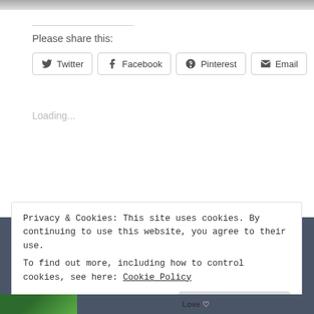[Figure (photo): Top portion of an image, partially visible as a gray strip at the very top of the page]
Please share this:
Twitter | Facebook | Pinterest | Email (social share buttons)
Loading...
Privacy & Cookies: This site uses cookies. By continuing to use this website, you agree to their use.
To find out more, including how to control cookies, see here: Cookie Policy
Close and accept